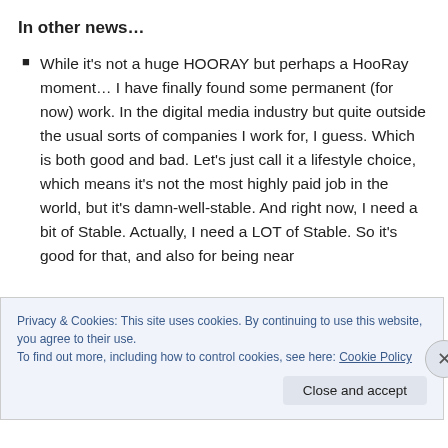In other news…
While it's not a huge HOORAY but perhaps a HooRay moment… I have finally found some permanent (for now) work. In the digital media industry but quite outside the usual sorts of companies I work for, I guess. Which is both good and bad. Let's just call it a lifestyle choice, which means it's not the most highly paid job in the world, but it's damn-well-stable. And right now, I need a bit of Stable. Actually, I need a LOT of Stable. So it's good for that, and also for being near
Privacy & Cookies: This site uses cookies. By continuing to use this website, you agree to their use.
To find out more, including how to control cookies, see here: Cookie Policy